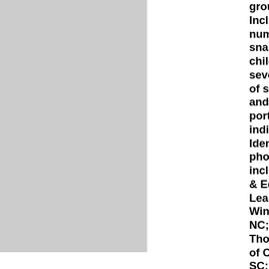groups. Included are numerous snapshots children, several photos of servicemen and many portraits of individuals. Identified photographs include Faris & Edwards Leary, of Winston-Salem, NC; Carrington, Thomas & Co. of Charleston, SC; O. J. Rader(?) of Charlotte; Alderman's Studio and W. Andrews of Greensboro, NC; and Johnson of Durham, NC